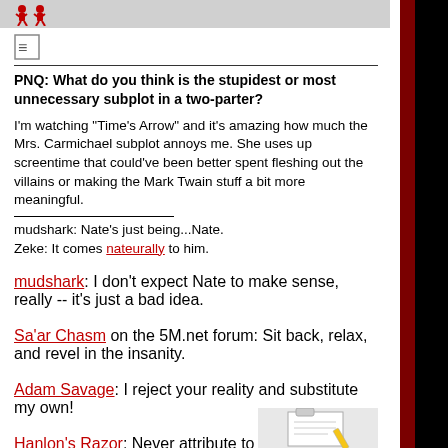PNQ: What do you think is the stupidest or most unnecessary subplot in a two-parter?
I'm watching "Time's Arrow" and it's amazing how much the Mrs. Carmichael subplot annoys me. She uses up screentime that could've been better spent fleshing out the villains or making the Mark Twain stuff a bit more meaningful.
mudshark: Nate's just being...Nate.
Zeke: It comes nateurally to him.
mudshark: I don't expect Nate to make sense, really -- it's just a bad idea.
Sa'ar Chasm on the 5M.net forum: Sit back, relax, and revel in the insanity.
Adam Savage: I reject your reality and substitute my own!
Hanlon's Razor: Never attribute to malice that which can be adequately explained by stupidity.
Crow T. Robot: Oh, stop pretending there's a plot. Don't cheapen yourself further.